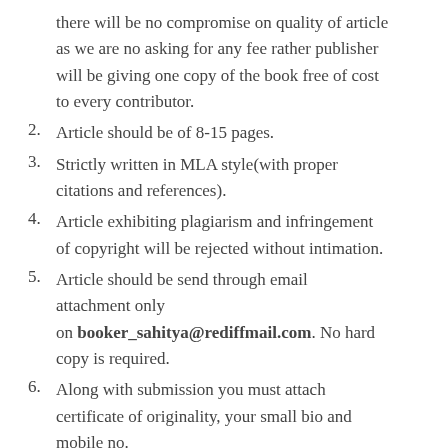there will be no compromise on quality of article as we are no asking for any fee rather publisher will be giving one copy of the book free of cost to every contributor.
Article should be of 8-15 pages.
Strictly written in MLA style(with proper citations and references).
Article exhibiting plagiarism and infringement of copyright will be rejected without intimation.
Article should be send through email attachment only on booker_sahitya@rediffmail.com. No hard copy is required.
Along with submission you must attach certificate of originality, your small bio and mobile no.